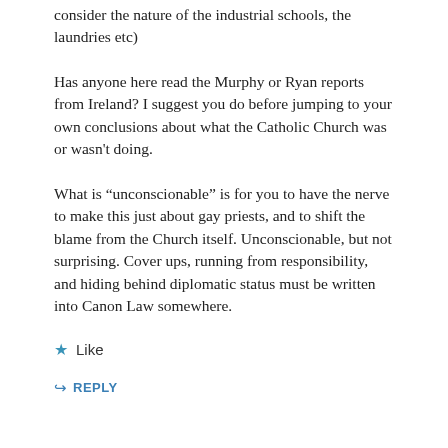consider the nature of the industrial schools, the laundries etc)
Has anyone here read the Murphy or Ryan reports from Ireland? I suggest you do before jumping to your own conclusions about what the Catholic Church was or wasn't doing.
What is “unscionable” is for you to have the nerve to make this just about gay priests, and to shift the blame from the Church itself. Unconscionable, but not surprising. Cover ups, running from responsibility, and hiding behind diplomatic status must be written into Canon Law somewhere.
★ Like
↪ REPLY